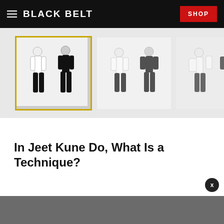BLACK BELT  SHOP
[Figure (photo): Three thumbnail images of two martial artists sparring/demonstrating Jeet Kune Do techniques against a white background. First thumbnail has a gold border indicating it is selected.]
In Jeet Kune Do, What Is a Technique?